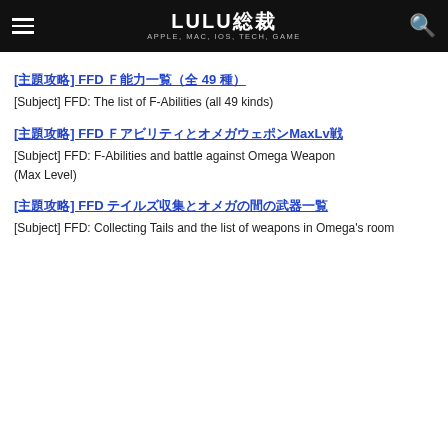LULU總裁 APPLE, MAC, IOS, TECH, GAME
[主題攻略] FFD Ｆ能力一覧（全 49 種）
[Subject] FFD: The list of F-Abilities (all 49 kinds)
[主題攻略] FFD ＦアビリティとオメガウェポンMaxLv戦
[Subject] FFD: F-Abilities and battle against Omega Weapon (Max Level)
[主題攻略] FFD テイルズ収集とオメガの間の武器一覧
[Subject] FFD: Collecting Tails and the list of weapons in Omega's room